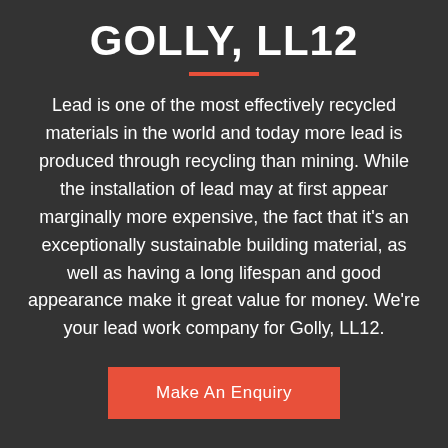GOLLY, LL12
Lead is one of the most effectively recycled materials in the world and today more lead is produced through recycling than mining. While the installation of lead may at first appear marginally more expensive, the fact that it's an exceptionally sustainable building material, as well as having a long lifespan and good appearance make it great value for money. We're your lead work company for Golly, LL12.
Make An Enquiry